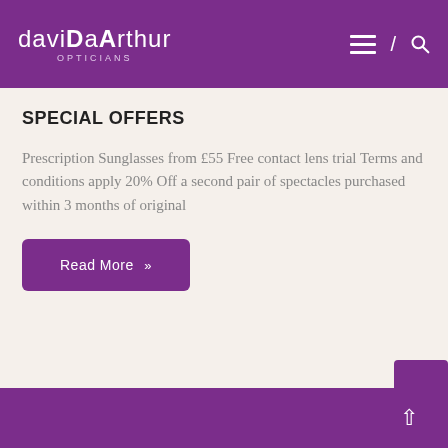daviDArthur OPTICIANS
SPECIAL OFFERS
Prescription Sunglasses from £55 Free contact lens trial Terms and conditions apply 20% Off a second pair of spectacles purchased within 3 months of original
Read More »